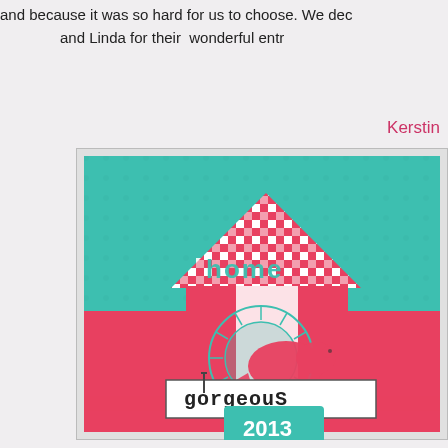and because it was so hard for us to choose. We dec and Linda for their wonderful entr
Kerstin
[Figure (photo): A handmade craft card featuring a house shape with red and white gingham pattern, teal background with texture, a red bird on a circular teal sunburst element, text reading 'home', 'gorgeous', '2013 spring' on teal and white labels, pink/coral and teal color scheme.]